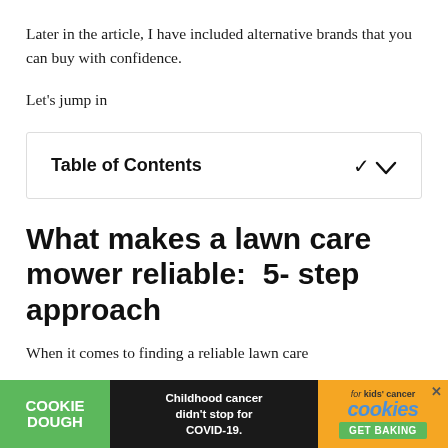Later in the article, I have included alternative brands that you can buy with confidence.
Let’s jump in
Table of Contents
What makes a lawn care mower reliable:  5- step approach
When it comes to finding a reliable lawn care
[Figure (screenshot): Advertisement banner at bottom: Cookie Dough green logo, text 'Childhood cancer didn’t stop for COVID-19.', Cookies for kids' cancer logo with orange background and 'GET BAKING' green button.]